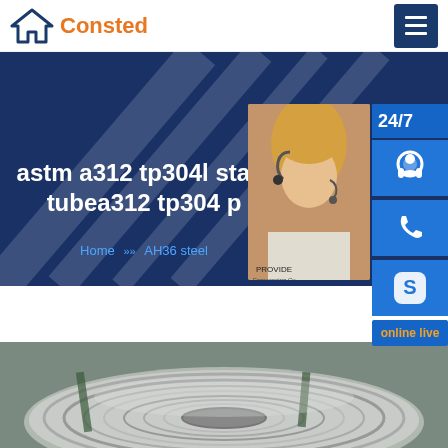Consted
astm a312 tp304l stain tubea312 tp304 p
Home » AH36 steel
[Figure (photo): Customer service representative with headset, with side panel showing 24/7 support icons (headset, phone, Skype) and online live chat button]
[Figure (photo): Coiled stainless steel strips/rolls in an industrial warehouse setting]